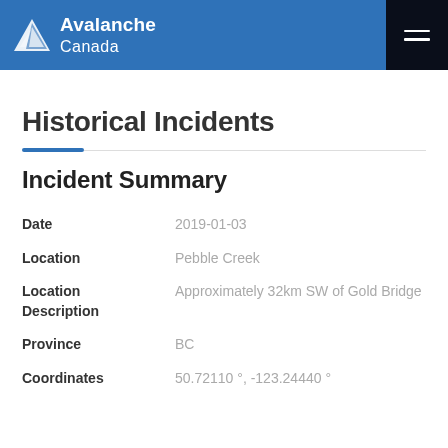Avalanche Canada
Historical Incidents
Incident Summary
| Field | Value |
| --- | --- |
| Date | 2019-01-03 |
| Location | Pebble Creek |
| Location Description | Approximately 32km SW of Gold Bridge |
| Province | BC |
| Coordinates | 50.72110 °, -123.24440 ° |